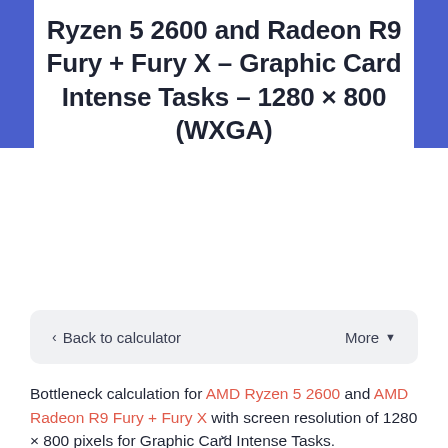Ryzen 5 2600 and Radeon R9 Fury + Fury X - Graphic Card Intense Tasks - 1280 × 800 (WXGA)
< Back to calculator   More ▾
Bottleneck calculation for AMD Ryzen 5 2600 and AMD Radeon R9 Fury + Fury X with screen resolution of 1280 × 800 pixels for Graphic Card Intense Tasks.